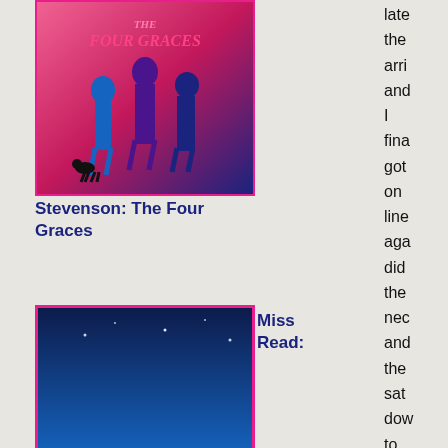[Figure (illustration): Book cover: The Four Graces, showing illustrated women and a small dog on a pink/magenta background]
Stevenson: The Four Graces
[Figure (illustration): Book cover: Christmas at Thrush Green by Miss Read, showing a snowy village scene]
Miss Read:
Christmas at Thrush Green
[Figure (illustration): Book cover: The Year at Thrush Green by Miss Read, showing illustrated village scene with pink border]
Miss Read: The Year at Thrush
late the arri and I fina got on line aga did the nec and the sat dow to fill in the for